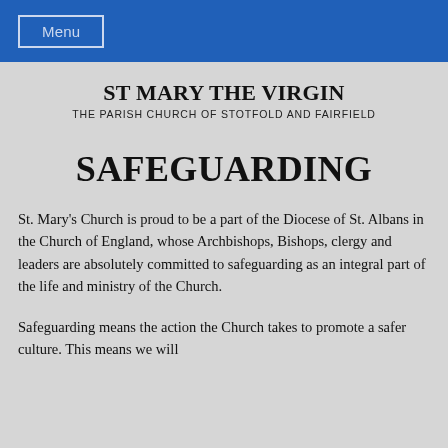Menu
ST MARY THE VIRGIN
THE PARISH CHURCH OF STOTFOLD AND FAIRFIELD
SAFEGUARDING
St. Mary's Church is proud to be a part of the Diocese of St. Albans in the Church of England, whose Archbishops, Bishops, clergy and leaders are absolutely committed to safeguarding as an integral part of the life and ministry of the Church.
Safeguarding means the action the Church takes to promote a safer culture. This means we will